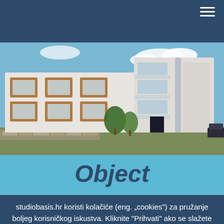[Figure (photo): Exterior rendering of a modern multi-story residential building with white and wood-panel facade, balconies, trees in foreground, blue sky background]
Object
studiobasis.hr koristi kolačiće (eng. „cookies") za pružanje boljeg korisničkog iskustva. Kliknite "Prihvati" ako se slažete se s uvjetima korištenja.
Pravila o privatnosti